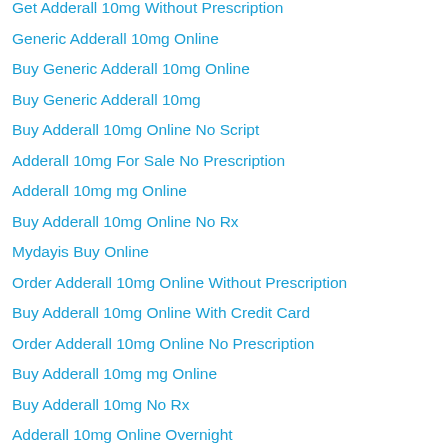Get Adderall 10mg Without Prescription
Generic Adderall 10mg Online
Buy Generic Adderall 10mg Online
Buy Generic Adderall 10mg
Buy Adderall 10mg Online No Script
Adderall 10mg For Sale No Prescription
Adderall 10mg mg Online
Buy Adderall 10mg Online No Rx
Mydayis Buy Online
Order Adderall 10mg Online Without Prescription
Buy Adderall 10mg Online With Credit Card
Order Adderall 10mg Online No Prescription
Buy Adderall 10mg mg Online
Buy Adderall 10mg No Rx
Adderall 10mg Online Overnight
Prescription For Adderall 10mg Online